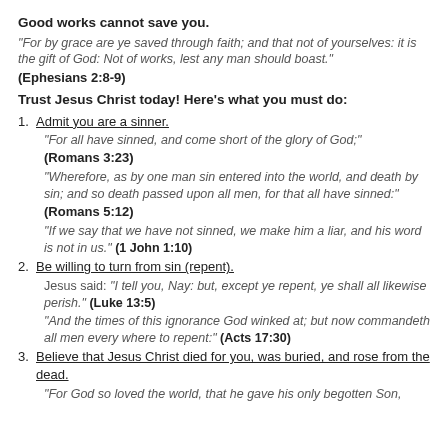Good works cannot save you.
"For by grace are ye saved through faith; and that not of yourselves: it is the gift of God: Not of works, lest any man should boast."
(Ephesians 2:8-9)
Trust Jesus Christ today! Here's what you must do:
Admit you are a sinner.
"For all have sinned, and come short of the glory of God;"
(Romans 3:23)
"Wherefore, as by one man sin entered into the world, and death by sin; and so death passed upon all men, for that all have sinned:"
(Romans 5:12)
"If we say that we have not sinned, we make him a liar, and his word is not in us." (1 John 1:10)
Be willing to turn from sin (repent).
Jesus said: "I tell you, Nay: but, except ye repent, ye shall all likewise perish." (Luke 13:5)
"And the times of this ignorance God winked at; but now commandeth all men every where to repent:" (Acts 17:30)
Believe that Jesus Christ died for you, was buried, and rose from the dead.
"For God so loved the world, that he gave his only begotten Son,